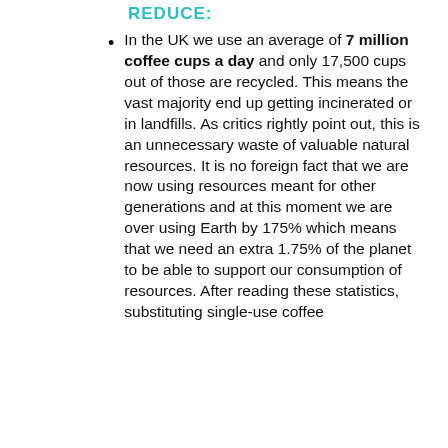REDUCE:
In the UK we use an average of 7 million coffee cups a day and only 17,500 cups out of those are recycled. This means the vast majority end up getting incinerated or in landfills. As critics rightly point out, this is an unnecessary waste of valuable natural resources. It is no foreign fact that we are now using resources meant for other generations and at this moment we are over using Earth by 175% which means that we need an extra 1.75% of the planet to be able to support our consumption of resources. After reading these statistics, substituting single-use coffee